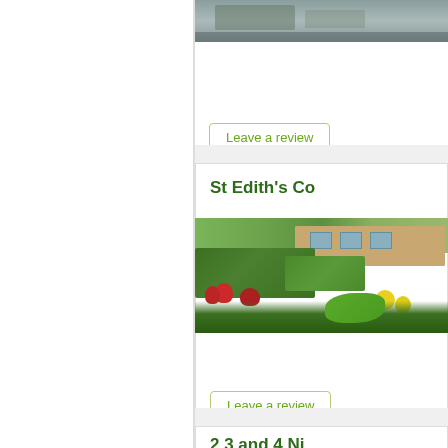[Figure (photo): Partial photo of a building, cropped at top of page in the right column]
Leave a review
St Edith's Co
[Figure (photo): Photo of a care home building exterior with garden flowers in foreground including red and yellow blooms, green hedges, brick building visible in background]
Leave a review
2 3 and 4 Ni